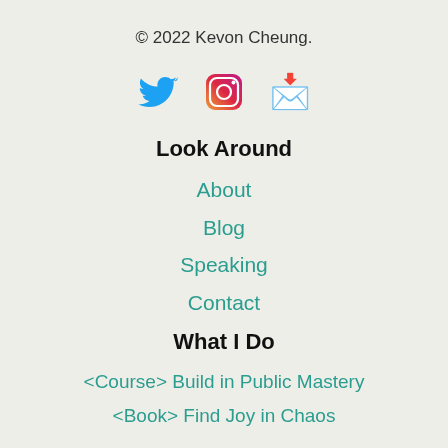© 2022 Kevon Cheung.
[Figure (illustration): Three social media icons: Twitter bird (blue), Instagram (gradient pink/orange), and email envelope with heart (yellow/orange emoji)]
Look Around
About
Blog
Speaking
Contact
What I Do
<Course> Build in Public Mastery
<Book> Find Joy in Chaos